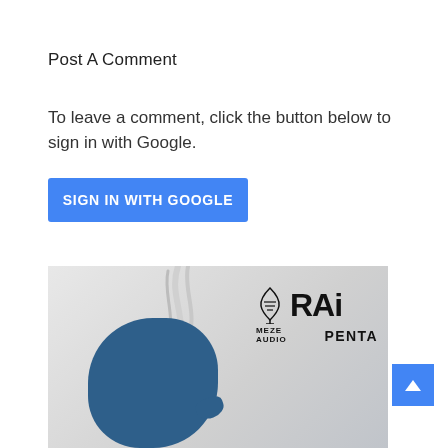Post A Comment
To leave a comment, click the button below to sign in with Google.
[Figure (screenshot): Blue 'SIGN IN WITH GOOGLE' button]
[Figure (photo): Meze Audio Rai Penta in-ear monitor product photo showing the earphone with twisted silver cable, gold connector, dark blue shell, on a grey gradient background with MEZE AUDIO and RAI PENTA branding text.]